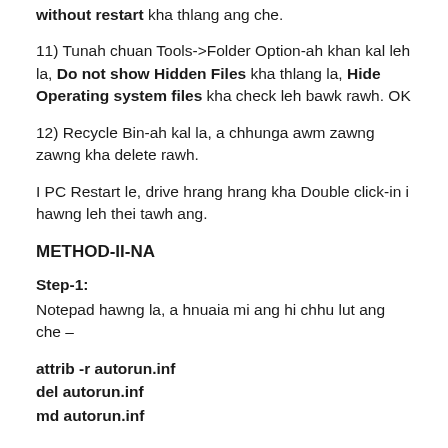without restart kha thlang ang che.
11) Tunah chuan Tools->Folder Option-ah khan kal leh la, Do not show Hidden Files kha thlang la, Hide Operating system files kha check leh bawk rawh. OK
12) Recycle Bin-ah kal la, a chhunga awm zawng zawng kha delete rawh.
I PC Restart le, drive hrang hrang kha Double click-in i hawng leh thei tawh ang.
METHOD-II-NA
Step-1:
Notepad hawng la, a hnuaia mi ang hi chhu lut ang che –
attrib -r autorun.inf
del autorun.inf
md autorun.inf